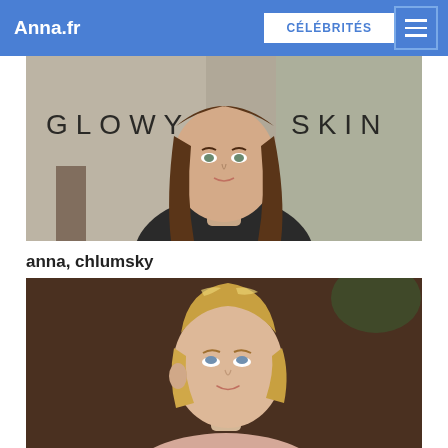Anna.fr | CÉLÉBRITÉS
[Figure (photo): A woman with long brown hair against a blurred indoor background, with text overlay reading 'GLOWY SKIN']
anna, chlumsky
[Figure (photo): A blonde woman with upswept hair looking upward, photographed against a dark background]